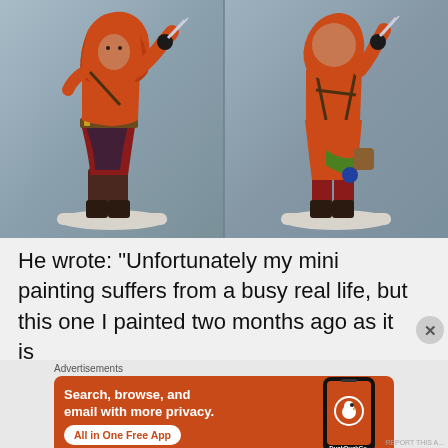[Figure (photo): Two views of a painted miniature figure wearing a red/brown hooded cloak, holding a dagger, front and back views, on a white base, against a gray-blue background.]
He wrote: “Unfortunately my mini painting suffers from a busy real life, but this one I painted two months ago as it is
Advertisements
[Figure (screenshot): DuckDuckGo advertisement banner: orange background with text 'Search, browse, and email with more privacy. All in One Free App' and a phone showing the DuckDuckGo app icon with DuckDuckGo logo.]